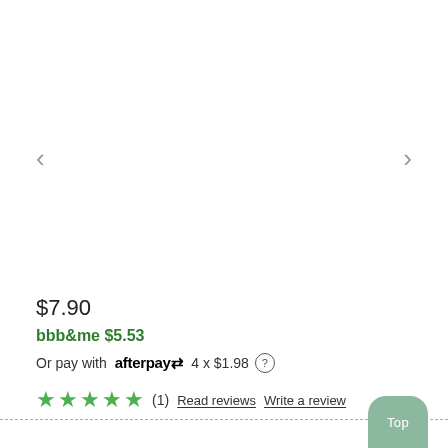[Figure (other): Left navigation arrow chevron]
[Figure (other): Right navigation arrow chevron]
$7.90
bbb&me $5.53
Or pay with afterpay 4 x $1.98 (?)
★★★★★ (1) Read reviews Write a review
[Figure (other): Top scroll button]